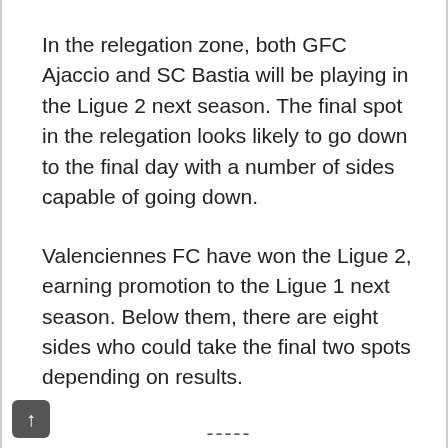In the relegation zone, both GFC Ajaccio and SC Bastia will be playing in the Ligue 2 next season. The final spot in the relegation looks likely to go down to the final day with a number of sides capable of going down.
Valenciennes FC have won the Ligue 2, earning promotion to the Ligue 1 next season. Below them, there are eight sides who could take the final two spots depending on results.
-----
French Cup